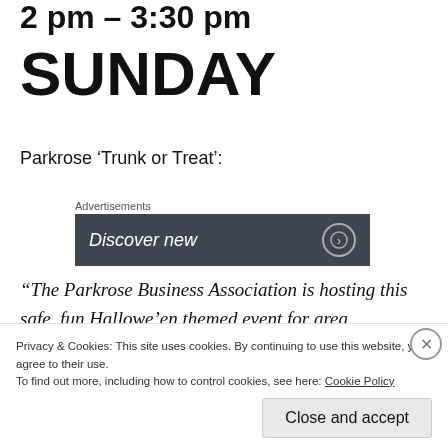2 pm – 3:30 pm
SUNDAY
Parkrose ‘Trunk or Treat’:
[Figure (screenshot): Advertisement banner with dark background showing text 'Discover new' and a circular icon on the right, labeled 'Advertisements' above.]
“The Parkrose Business Association is hosting this safe, fun Hallowe’en themed event for area youngsters. Come dressed in costume for extra fun as
Privacy & Cookies: This site uses cookies. By continuing to use this website, you agree to their use.
To find out more, including how to control cookies, see here: Cookie Policy
Close and accept